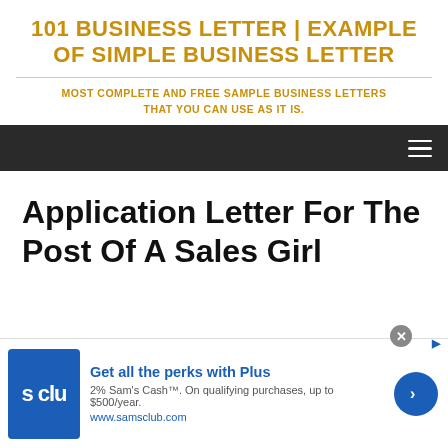101 BUSINESS LETTER | EXAMPLE OF SIMPLE BUSINESS LETTER
MOST COMPLETE AND FREE SAMPLE BUSINESS LETTERS THAT YOU CAN USE AS IT IS.
Application Letter For The Post Of A Sales Girl
[Figure (screenshot): Advertisement banner for Sam's Club Plus membership showing blue logo with 's clu' text, headline 'Get all the perks with Plus', subtext '2% Sam's Cash™. On qualifying purchases, up to $500/year. www.samsclub.com', blue circular arrow button, and close (x) button.]